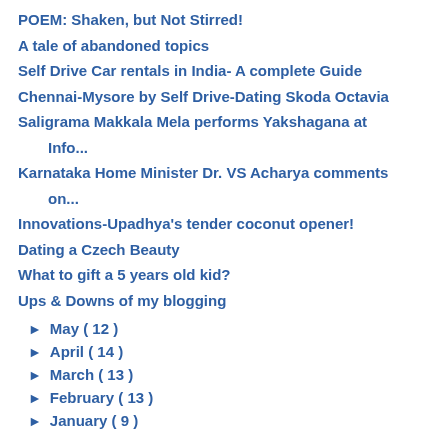POEM: Shaken, but Not Stirred!
A tale of abandoned topics
Self Drive Car rentals in India- A complete Guide
Chennai-Mysore by Self Drive-Dating Skoda Octavia
Saligrama Makkala Mela performs Yakshagana at Info...
Karnataka Home Minister Dr. VS Acharya comments on...
Innovations-Upadhya's tender coconut opener!
Dating a Czech Beauty
What to gift a 5 years old kid?
Ups & Downs of my blogging
► May ( 12 )
► April ( 14 )
► March ( 13 )
► February ( 13 )
► January ( 9 )